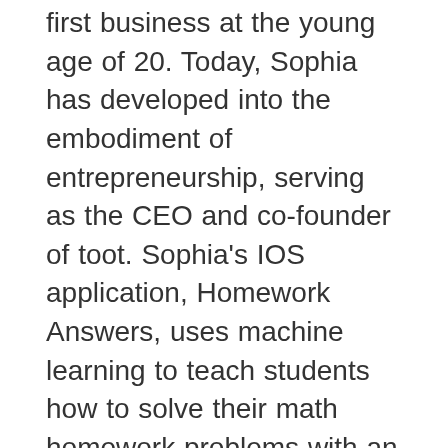first business at the young age of 20. Today, Sophia has developed into the embodiment of entrepreneurship, serving as the CEO and co-founder of toot. Sophia's IOS application, Homework Answers, uses machine learning to teach students how to solve their math homework problems with an innovative whiteboard lesson. For her work at toot, Sophia has been recognized as a leader in education, selected as one of Forbes' 30 under 30 in the education category. In addition to her passion for education, Sophia is also the curator and founder of Mountain Gate, a community that catalyzes life-changing discussions and collaborations for young, revolutionary leaders across all spheres including education, music, social impact, space exploration, think tanks, and more. Mountain Gate has grown to 4500 members and featured